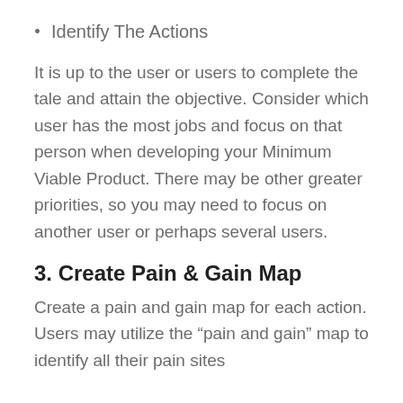Identify The Actions
It is up to the user or users to complete the tale and attain the objective. Consider which user has the most jobs and focus on that person when developing your Minimum Viable Product. There may be other greater priorities, so you may need to focus on another user or perhaps several users.
3. Create Pain & Gain Map
Create a pain and gain map for each action. Users may utilize the “pain and gain” map to identify all their pain sites